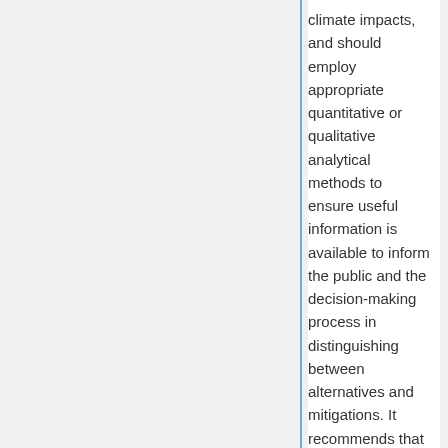climate impacts, and should employ appropriate quantitative or qualitative analytical methods to ensure useful information is available to inform the public and the decision-making process in distinguishing between alternatives and mitigations. It recommends that